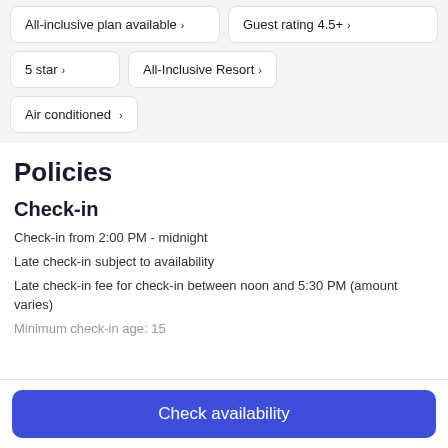All-inclusive plan available ›
Guest rating 4.5+ ›
5 star ›
All-Inclusive Resort ›
Air conditioned ›
Policies
Check-in
Check-in from 2:00 PM - midnight
Late check-in subject to availability
Late check-in fee for check-in between noon and 5:30 PM (amount varies)
Minimum check-in age: 15
Check availability